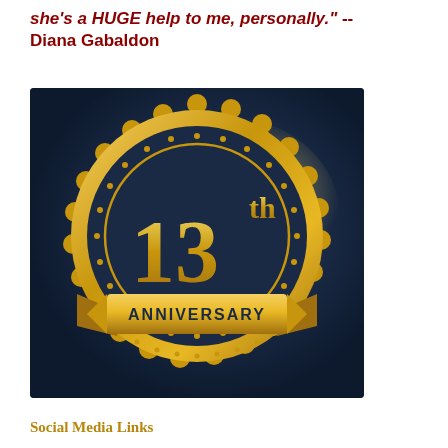she's a HUGE help to me, personally." -- Diana Gabaldon
[Figure (illustration): 13th Anniversary badge/seal: a gold scalloped medallion with dark navy blue background, displaying '13th' in large gold numerals with 'th' superscript, and a gold ribbon banner across the bottom reading 'ANNIVERSARY'.]
Social Media Links